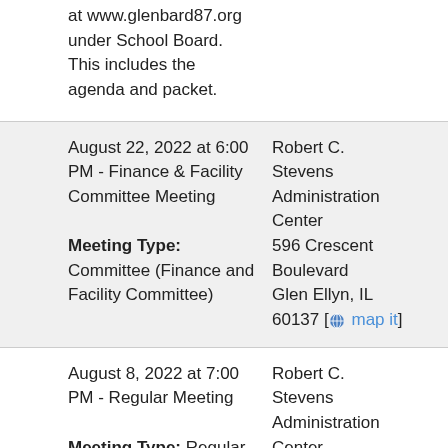at www.glenbard87.org under School Board. This includes the agenda and packet.
| Date/Meeting | Location | Links |
| --- | --- | --- |
| August 22, 2022 at 6:00 PM - Finance & Facility Committee Meeting
Meeting Type: Committee (Finance and Facility Committee) | Robert C. Stevens Administration Center 596 Crescent Boulevard Glen Ellyn, IL 60137 [map it] | Agenda |
| August 8, 2022 at 7:00 PM - Regular Meeting
Meeting Type: Regular
As stated on the signs | Robert C. Stevens Administration Center 596 C... | Extras
Agenda |